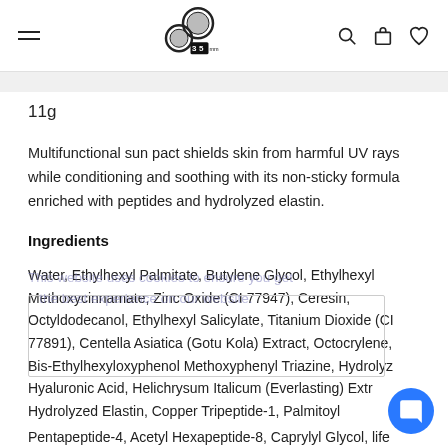35mm logo navigation header with hamburger menu, logo, search, cart and heart icons
11g
Multifunctional sun pact shields skin from harmful UV rays while conditioning and soothing with its non-sticky formula enriched with peptides and hydrolyzed elastin.
Ingredients
Water, Ethylhexyl Palmitate, Butylene Glycol, Ethylhexyl Methoxycinnamate, Zinc Oxide (CI 77947), Ceresin, Octyldodecanol, Ethylhexyl Salicylate, Titanium Dioxide (CI 77891), Centella Asiatica (Gotu Kola) Extract, Octocrylene, Bis-Ethylhexyloxyphenol Methoxyphenyl Triazine, Hydrolyz Hyaluronic Acid, Helichrysum Italicum (Everlasting) Extr Hydrolyzed Elastin, Copper Tripeptide-1, Palmitoyl Pentapeptide-4, Acetyl Hexapeptide-8, Caprylyl Glycol, life